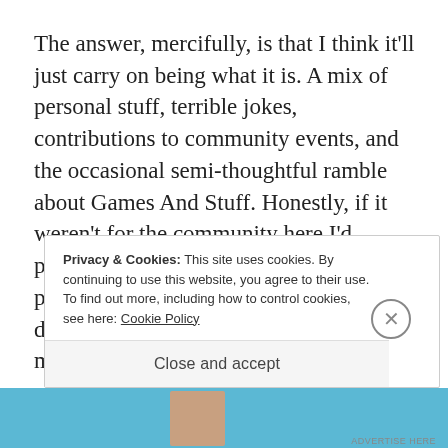The answer, mercifully, is that I think it'll just carry on being what it is. A mix of personal stuff, terrible jokes, contributions to community events, and the occasional semi-thoughtful ramble about Games And Stuff. Honestly, if it weren't for the community here I'd probably just give this up entirely at this point, but I don't think that would be doing myself any favours and it's brought me into this world of a whole bunch of cool people that I'd really like to continue to be a part of. So
Privacy & Cookies: This site uses cookies. By continuing to use this website, you agree to their use. To find out more, including how to control cookies, see here: Cookie Policy
Close and accept
[Figure (photo): Bottom banner with blue background and partial image of a person]